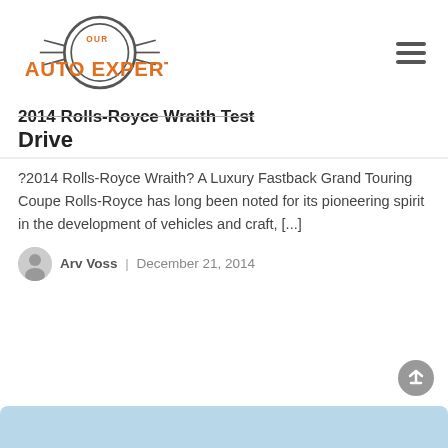Our Auto Expert
2014 Rolls-Royce Wraith Test Drive
?2014 Rolls-Royce Wraith? A Luxury Fastback Grand Touring Coupe Rolls-Royce has long been noted for its pioneering spirit in the development of vehicles and craft, [...]
Arv Voss | December 21, 2014
[Figure (photo): Partial view of a car at the bottom of the page]